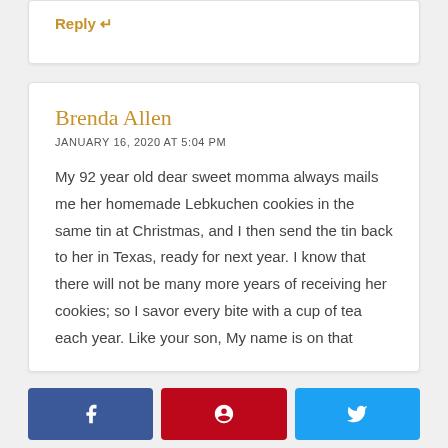Reply ↩
Brenda Allen
JANUARY 16, 2020 AT 5:04 PM
My 92 year old dear sweet momma always mails me her homemade Lebkuchen cookies in the same tin at Christmas, and I then send the tin back to her in Texas, ready for next year. I know that there will not be many more years of receiving her cookies; so I savor every bite with a cup of tea each year. Like your son, My name is on that